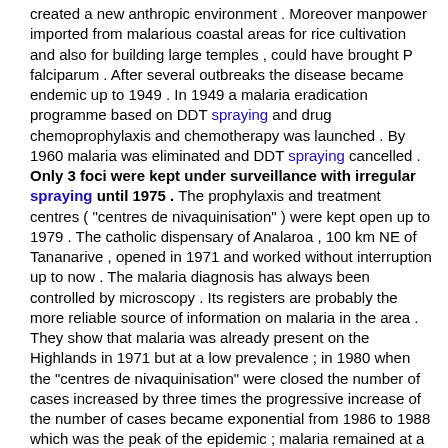created a new anthropic environment . Moreover manpower imported from malarious coastal areas for rice cultivation and also for building large temples , could have brought P falciparum . After several outbreaks the disease became endemic up to 1949 . In 1949 a malaria eradication programme based on DDT spraying and drug chemoprophylaxis and chemotherapy was launched . By 1960 malaria was eliminated and DDT spraying cancelled . Only 3 foci were kept under surveillance with irregular spraying until 1975 . The prophylaxis and treatment centres ( "centres de nivaquinisation" ) were kept open up to 1979 . The catholic dispensary of Analaroa , 100 km NE of Tananarive , opened in 1971 and worked without interruption up to now . The malaria diagnosis has always been controlled by microscopy . Its registers are probably the more reliable source of information on malaria in the area . They show that malaria was already present on the Highlands in 1971 but at a low prevalence ; in 1980 when the "centres de nivaquinisation" were closed the number of cases increased by three times the progressive increase of the number of cases became exponential from 1986 to 1988 which was the peak of the epidemic ; malaria remained at a high level until the end of 1993 ; yearly DDT spraying since 1993 have decreased the number of malaria cases among the dispensary attendants by 90% . The epidemic peak of 1988 was well documented by the Pasteur Institute of Madagascar around Tananarive . Before the epidemic started it was observed a come back of An . funestus which had been previously eliminated of most of the villages by DDT spraying . More than an epidemic the malaria increase in 1988 was a reconquest by malaria of the land from which it had been eliminated in the years 1950 . This episode became dramatic because the lack of immunity of the population and the shortage of medicaments .
[ Sen. 16, subscore: 1.00 ]: Moreover manpower imported from malarious coastal areas for rice cultivation and also for building large